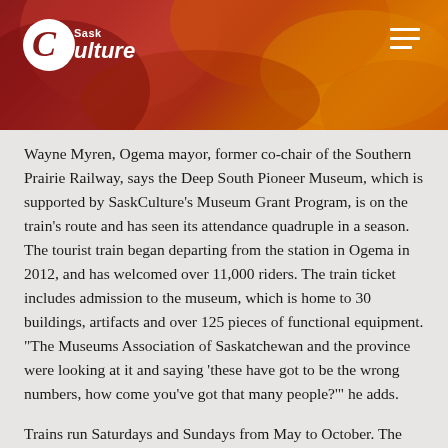SaskCulture
Wayne Myren, Ogema mayor, former co-chair of the Southern Prairie Railway, says the Deep South Pioneer Museum, which is supported by SaskCulture's Museum Grant Program, is on the train's route and has seen its attendance quadruple in a season. The tourist train began departing from the station in Ogema in 2012, and has welcomed over 11,000 riders. The train ticket includes admission to the museum, which is home to 30 buildings, artifacts and over 125 pieces of functional equipment. “The Museums Association of Saskatchewan and the province were looking at it and saying ‘these have got to be the wrong numbers, how come you’ve got that many people?’” he adds.
Trains run Saturdays and Sundays from May to October. The tours include daytime trips to neighbouring communities, and special occasion and late afternoon trips with meals and entertainment. Visitors from all across Saskatchewan, Canada and the world, have come to Ogema to ride the train.